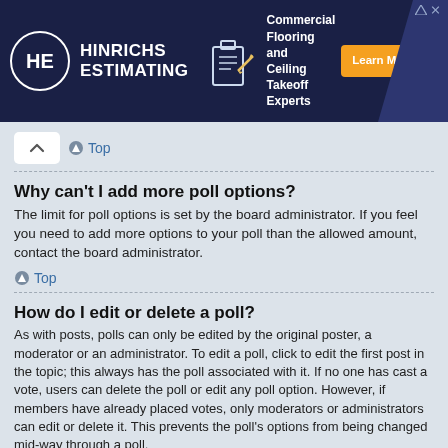[Figure (other): Advertisement banner for Hinrichs Estimating – Commercial Flooring and Ceiling Takeoff Experts, with orange Learn More button on dark navy background]
Top
Why can't I add more poll options?
The limit for poll options is set by the board administrator. If you feel you need to add more options to your poll than the allowed amount, contact the board administrator.
Top
How do I edit or delete a poll?
As with posts, polls can only be edited by the original poster, a moderator or an administrator. To edit a poll, click to edit the first post in the topic; this always has the poll associated with it. If no one has cast a vote, users can delete the poll or edit any poll option. However, if members have already placed votes, only moderators or administrators can edit or delete it. This prevents the poll's options from being changed mid-way through a poll.
Top